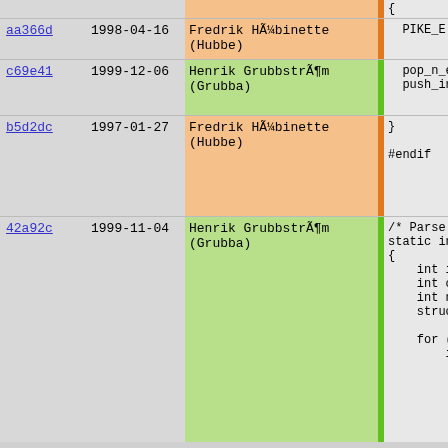| hash | date | author | code |
| --- | --- | --- | --- |
| aa366d | 1998-04-16 | Fredrik HÃ¼binette (Hubbe) | PIKE_E |
| c69e41 | 1999-12-06 | Henrik GrubbstrÃ¶m (Grubba) | pop_n_el
push_int |
| b5d2dc | 1997-01-27 | Fredrik HÃ¼binette (Hubbe) | }

#endif |
| 42a92c | 1999-11-04 | Henrik GrubbstrÃ¶m (Grubba) | /* Parse a
static int
{
    int i;
    int offs
    int num_
    struct s

    for (i=o
        if (s[
            int
            if (
                pu
                if


            }
        }

        for |